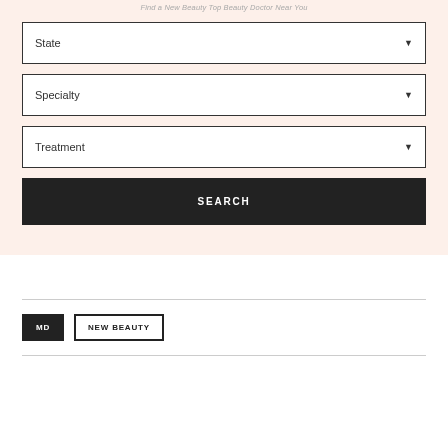Find a New Beauty Top Beauty Doctor Near You
State
Specialty
Treatment
SEARCH
MD
NEW BEAUTY